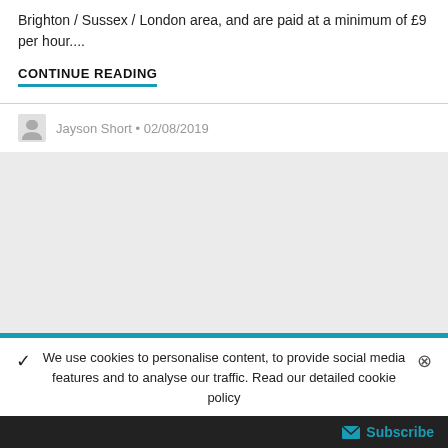Brighton / Sussex / London area, and are paid at a minimum of £9 per hour....
CONTINUE READING
Jayson Short • 02/08/2019
We use cookies to personalise content, to provide social media features and to analyse our traffic. Read our detailed cookie policy
Subscribe